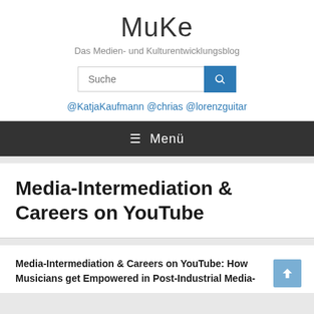MuKe
Das Medien- und Kulturentwicklungsblog
@KatjaKaufmann @chrias @lorenzguitar
≡ Menü
Media-Intermediation & Careers on YouTube
Media-Intermediation & Careers on YouTube: How Musicians get Empowered in Post-Industrial Media-